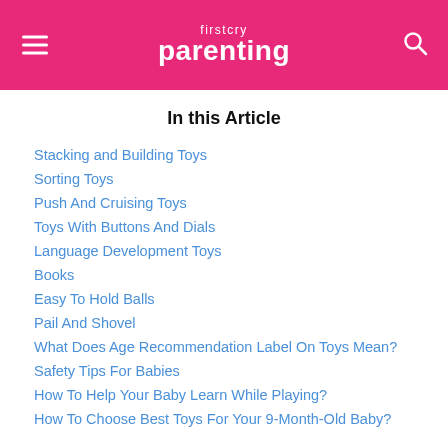firstcry parenting
In this Article
Stacking and Building Toys
Sorting Toys
Push And Cruising Toys
Toys With Buttons And Dials
Language Development Toys
Books
Easy To Hold Balls
Pail And Shovel
What Does Age Recommendation Label On Toys Mean?
Safety Tips For Babies
How To Help Your Baby Learn While Playing?
How To Choose Best Toys For Your 9-Month-Old Baby?